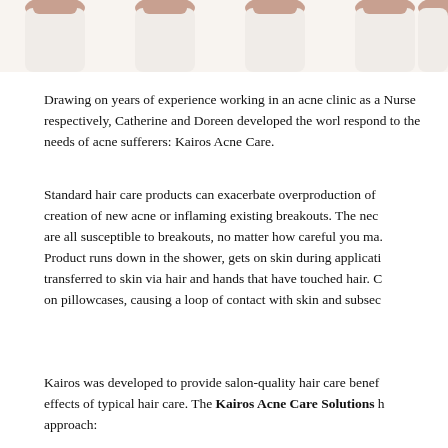[Figure (photo): Row of white/beige cosmetic product bottles with orange/brown caps, partially cropped at top of page]
Drawing on years of experience working in an acne clinic as a Nurse respectively, Catherine and Doreen developed the world respond to the needs of acne sufferers: Kairos Acne Care.
Standard hair care products can exacerbate overproduction of creation of new acne or inflaming existing breakouts. The neck are all susceptible to breakouts, no matter how careful you ma. Product runs down in the shower, gets on skin during applicati transferred to skin via hair and hands that have touched hair. C on pillowcases, causing a loop of contact with skin and subsec
Kairos was developed to provide salon-quality hair care benef effects of typical hair care. The Kairos Acne Care Solutions approach: